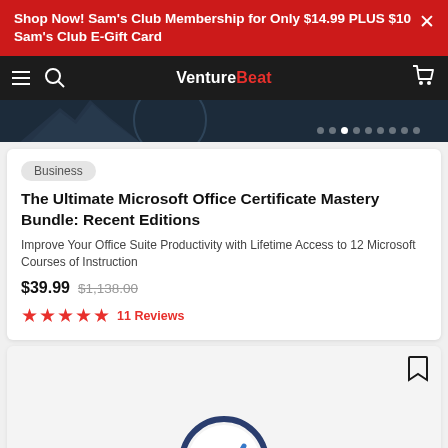Shop Now! Sam's Club Membership for Only $14.99 PLUS $10 Sam's Club E-Gift Card
VentureBeat
[Figure (screenshot): Hero banner area with dark background, mountain silhouette and dot pagination indicators]
Business
The Ultimate Microsoft Office Certificate Mastery Bundle: Recent Editions
Improve Your Office Suite Productivity with Lifetime Access to 12 Microsoft Courses of Instruction
$39.99  $1,138.00
★★★★★  11 Reviews
[Figure (screenshot): Partial second product card with bookmark icon and VentureBeat logo illustration at the bottom]